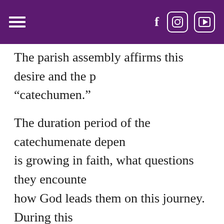≡  f  [instagram]  [youtube]
The parish assembly affirms this desire and the person is now called a "catechumen."
The duration period of the catechumenate depends on how the person is growing in faith, what questions they encounter along the way, and how God leads them on this journey. During this period, the catechumens consider what God is saying to them in the scriptures, what changes in their life they need to make to reflect God's inspiration, and what Baptism in the Catholic Church means. When the catechumen and the priest and the parish team working with him or her believes the person is ready to make a faith commitment to God in the Catholic Church, the next step is the request to the bishop for the celebration of the Rite of Election. Even before